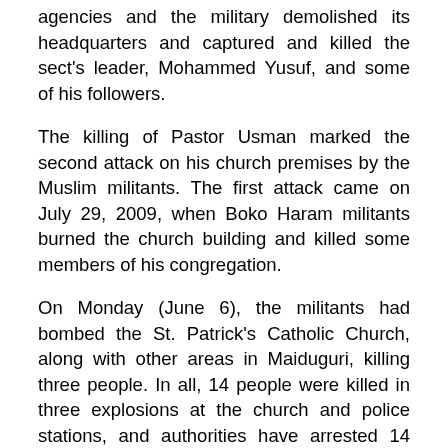agencies and the military demolished its headquarters and captured and killed the sect's leader, Mohammed Yusuf, and some of his followers.
The killing of Pastor Usman marked the second attack on his church premises by the Muslim militants. The first attack came on July 29, 2009, when Boko Haram militants burned the church building and killed some members of his congregation.
On Monday (June 6), the militants had bombed the St. Patrick's Catholic Church, along with other areas in Maiduguri, killing three people. In all, 14 people were killed in three explosions at the church and police stations, and authorities have arrested 14 people.
The Boko Haram name is interpreted figuratively as “against Western education,” but some say it can also